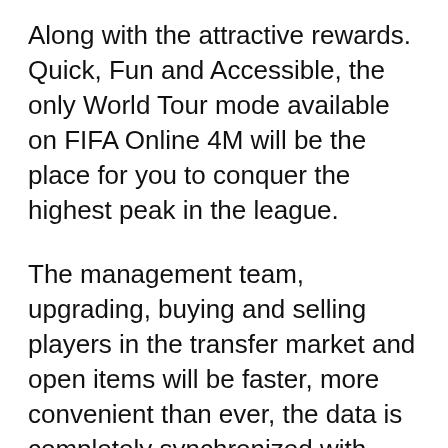Along with the attractive rewards. Quick, Fun and Accessible, the only World Tour mode available on FIFA Online 4M will be the place for you to conquer the highest peak in the league.
The management team, upgrading, buying and selling players in the transfer market and open items will be faster, more convenient than ever, the data is completely synchronized with FIFA Online 4 M on the computer help Join a Team, Conquer the World.
Near Top of the first list category football games in Android Google play store platform. FIFA online 4 M on Smartphone...